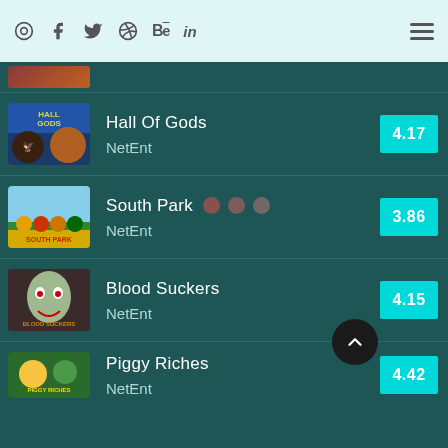Social media icons and navigation menu
Hall Of Gods - NetEnt - Rating: 4.17
South Park - NetEnt - Rating: 3.86
Blood Suckers - NetEnt - Rating: 4.15
Piggy Riches - NetEnt - Rating: 4.42